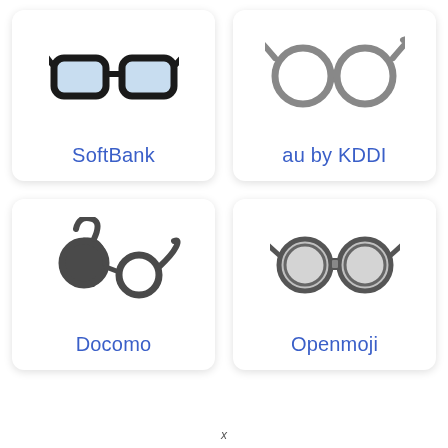[Figure (illustration): SoftBank glasses emoji - black thick-framed glasses with light blue tint lenses]
SoftBank
[Figure (illustration): au by KDDI glasses emoji - gray outlined round glasses, no fill]
au by KDDI
[Figure (illustration): Docomo glasses emoji - dark gray stylized glasses with artistic curved frames]
Docomo
[Figure (illustration): Openmoji glasses emoji - gray round glasses with light gray lens fill and dark border]
Openmoji